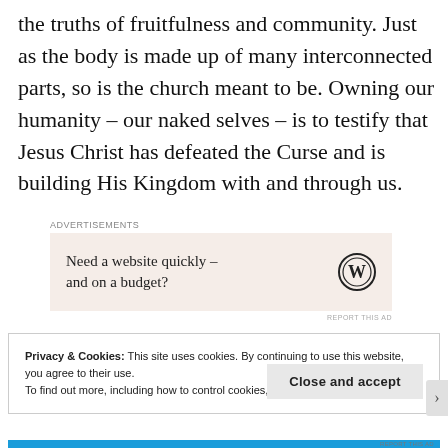the truths of fruitfulness and community. Just as the body is made up of many interconnected parts, so is the church meant to be. Owning our humanity – our naked selves – is to testify that Jesus Christ has defeated the Curse and is building His Kingdom with and through us.
[Figure (other): WordPress advertisement banner with beige background. Text: 'Need a website quickly – and on a budget?' with WordPress logo on the right.]
Privacy & Cookies: This site uses cookies. By continuing to use this website, you agree to their use.
To find out more, including how to control cookies, see here: Cookie Policy
Close and accept